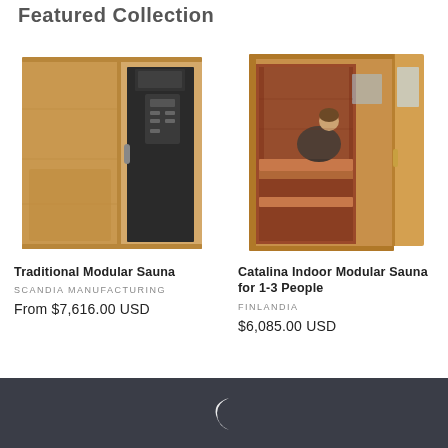Featured Collection
[Figure (photo): Traditional Modular Sauna - wooden sauna unit with dark glass door panels]
Traditional Modular Sauna
SCANDIA MANUFACTURING
From $7,616.00 USD
[Figure (photo): Catalina Indoor Modular Sauna for 1-3 People - open door showing interior with a person reclining on bench]
Catalina Indoor Modular Sauna for 1-3 People
FINLANDIA
$6,085.00 USD